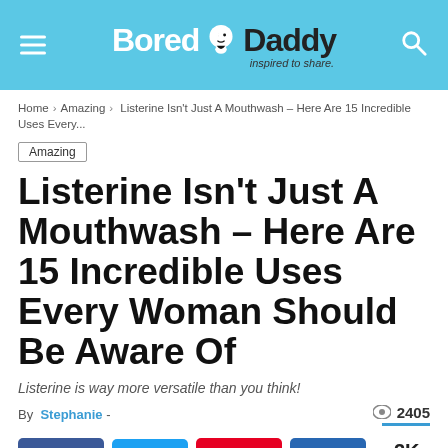Bored Daddy — inspired to share.
Home > Amazing > Listerine Isn't Just A Mouthwash – Here Are 15 Incredible Uses Every...
Amazing
Listerine Isn't Just A Mouthwash – Here Are 15 Incredible Uses Every Woman Should Be Aware Of
Listerine is way more versatile than you think!
By Stephanie - 2405 views
2K  [Facebook share]  [Twitter share]  2 [Pinterest]  [LinkedIn]  < 2K SHARES